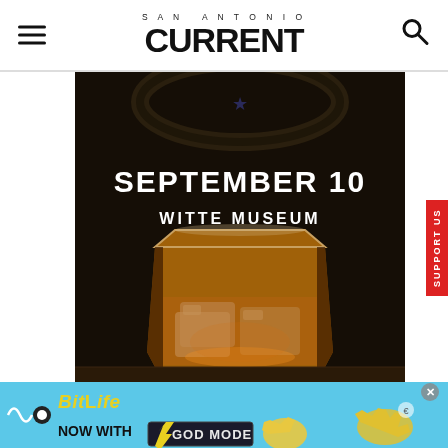SAN ANTONIO CURRENT
[Figure (photo): Promotional event image showing a glass of bourbon/whiskey on the rocks against a dark background, with text overlay reading 'SEPTEMBER 10 WITTE MUSEUM']
[Figure (photo): BitLife mobile game advertisement banner: 'BitLife NOW WITH GOD MODE' on a light blue background with illustrated hand graphics]